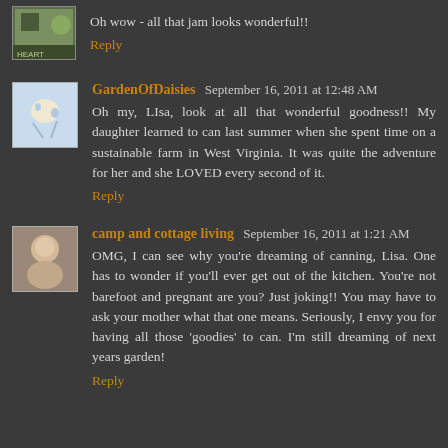[Figure (photo): Small avatar image, partially visible at top, appears to be a green/nature themed thumbnail]
Oh wow - all that jam looks wonderful!!
Reply
[Figure (photo): Avatar for GardenOfDaisies showing illustrated figures]
GardenOfDaisies September 16, 2011 at 12:48 AM
Oh my, LIsa, look at all that wonderful goodness!! My daughter learned to can last summer when she spent time on a sustainable farm in West Virginia. It was quite the adventure for her and she LOVED every second of it.
Reply
[Figure (photo): Avatar for camp and cottage living showing a person]
camp and cottage living September 16, 2011 at 1:21 AM
OMG, I can see why you're dreaming of canning, Lisa. One has to wonder if you'll ever get out of the kitchen. You're not barefoot and pregnant are you? Just joking!! You may have to ask your mother what that one means. Seriously, I envy you for having all those 'goodies' to can. I'm still dreaming of next years garden!
Reply